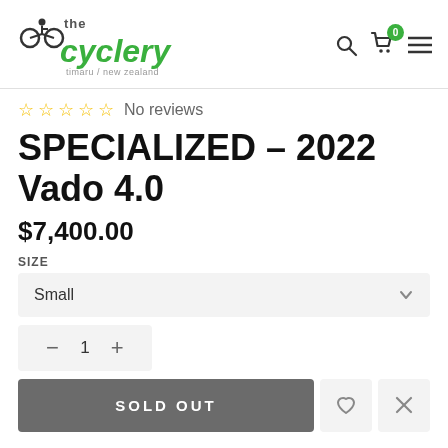[Figure (logo): The Cyclery logo — cyclist icon, bold italic green 'cyclery' text, 'timaru / new zealand' subtitle]
☆ ☆ ☆ ☆ ☆ No reviews
SPECIALIZED – 2022 Vado 4.0
$7,400.00
SIZE
Small
− 1 +
SOLD OUT